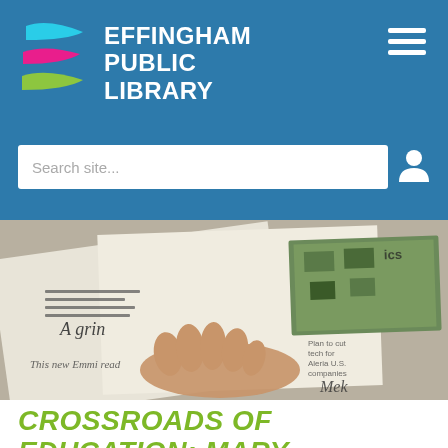[Figure (logo): Effingham Public Library logo with colorful swoosh shapes (cyan, magenta, green) and white bold text on blue background, with hamburger menu icon and search bar]
[Figure (photo): Close-up photograph of a person's hand resting on an open newspaper, with aerial photo visible in the newspaper]
CROSSROADS OF EDUCATION: MARY